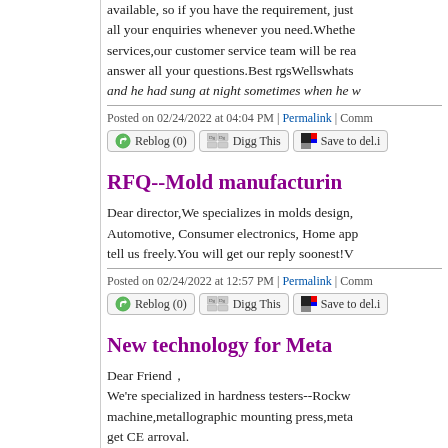available, so if you have the requirement, just all your enquiries whenever you need.Whether services,our customer service team will be rea answer all your questions.Best rgsWellswhats and he had sung at night sometimes when he w
Posted on 02/24/2022 at 04:04 PM | Permalink | Comm
Reblog (0)  Digg This  Save to del.i
RFQ--Mold manufacturin
Dear director,We specializes in molds design, Automotive, Consumer electronics, Home app tell us freely.You will get our reply soonest!V
Posted on 02/24/2022 at 12:57 PM | Permalink | Comm
Reblog (0)  Digg This  Save to del.i
New technology for Meta
Dear Friend，
We’re specialized in hardness testers--Rockw machine,metallographic mounting press,meta get CE arroval.
We can provide tailor-made solutions for our